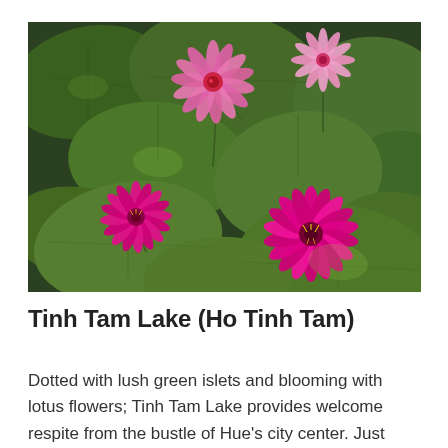[Figure (photo): Close-up photograph of pink lotus/water lily flowers blooming among large green lily pads on a dark water surface. Four pink flowers are visible at various stages of bloom — two fully open in the foreground, one pale pink partially open in the upper center, and one bud in the upper right.]
Tinh Tam Lake (Ho Tinh Tam)
Dotted with lush green islets and blooming with lotus flowers; Tinh Tam Lake provides welcome respite from the bustle of Hue's city center. Just